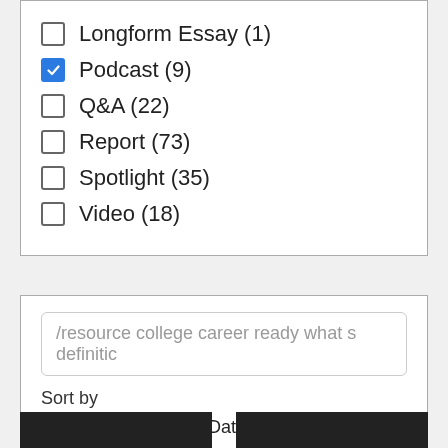Longform Essay (1)
Podcast (9)
Q&A (22)
Report (73)
Spotlight (35)
Video (18)
/resource college career ready what s definitic
Sort by
Relevance  Date
Order
Asc  Desc